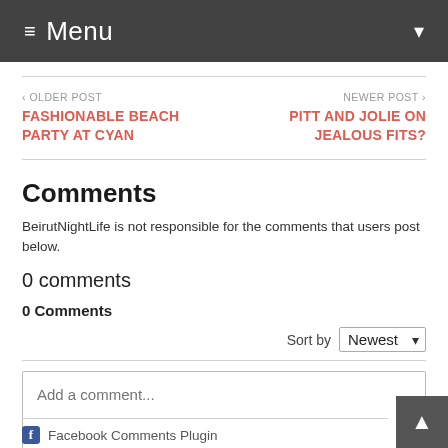≡ Menu ▾
‹ OLDER POST
FASHIONABLE BEACH PARTY AT CYAN
NEWER POST ›
PITT AND JOLIE ON JEALOUS FITS?
Comments
BeirutNightLife is not responsible for the comments that users post below.
0 comments
0 Comments
Sort by Newest
Add a comment...
Facebook Comments Plugin